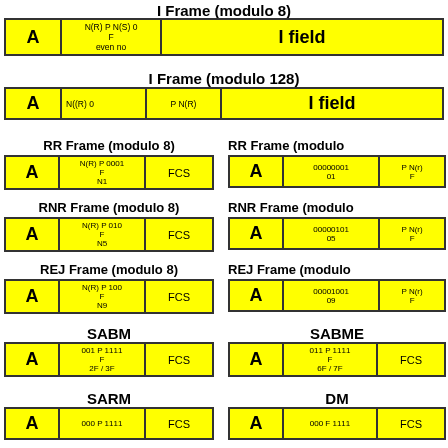I Frame (modulo 8)
[Figure (schematic): I Frame modulo 8 table with fields A, N(R) P N(S) 0 F even no, and I field]
I Frame (modulo 128)
[Figure (schematic): I Frame modulo 128 table with fields A, N((R) 0, P N(R), and I field]
RR Frame (modulo 8)
[Figure (schematic): RR Frame modulo 8 table with fields A, N(R) P 0001 F N1, FCS]
RR Frame (modulo
[Figure (schematic): RR Frame modulo table with fields A, 00000001 01, P N(r) F]
RNR Frame (modulo 8)
[Figure (schematic): RNR Frame modulo 8 table with fields A, N(R) P 010 F N5, FCS]
RNR Frame (modulo
[Figure (schematic): RNR Frame modulo table with fields A, 00000101 05, P N(r) F]
REJ Frame (modulo 8)
[Figure (schematic): REJ Frame modulo 8 table with fields A, N(R) P 100 F N9, FCS]
REJ Frame (modulo
[Figure (schematic): REJ Frame modulo table with fields A, 00001001 09, P N(r) F]
SABM
[Figure (schematic): SABM table with fields A, 001 P 1111 F 2F / 3F, FCS]
SABME
[Figure (schematic): SABME table with fields A, 011 P 1111 F 6F / 7F, FCS]
SARM
[Figure (schematic): SARM table with fields A, 000 P 1111, FCS]
DM
[Figure (schematic): DM table with fields A, 000 F 1111, FCS]